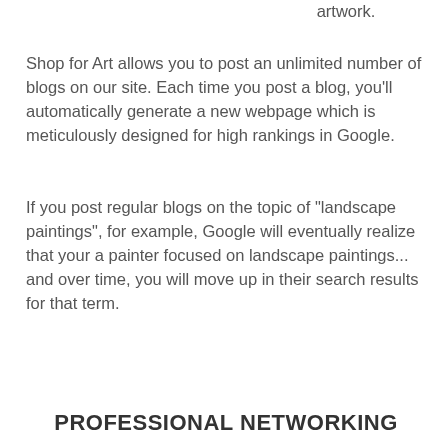artwork.
Shop for Art allows you to post an unlimited number of blogs on our site. Each time you post a blog, you'll automatically generate a new webpage which is meticulously designed for high rankings in Google.
If you post regular blogs on the topic of "landscape paintings", for example, Google will eventually realize that your a painter focused on landscape paintings... and over time, you will move up in their search results for that term.
PROFESSIONAL NETWORKING